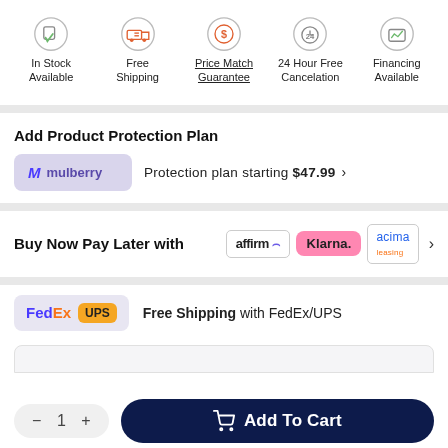[Figure (infographic): Row of 5 icons with labels: In Stock Available, Free Shipping, Price Match Guarantee (underlined), 24 Hour Free Cancelation, Financing Available]
Add Product Protection Plan
[Figure (logo): Mulberry logo badge (purple/lavender background) with M and mulberry text]
Protection plan starting $47.99 >
Buy Now Pay Later with
[Figure (logo): Affirm, Klarna, and Acima payment logos with chevron]
[Figure (logo): FedEx and UPS logos in lavender badge]
Free Shipping with FedEx/UPS
— 1 +
Add To Cart